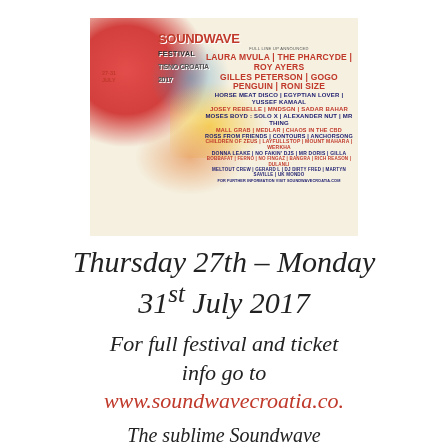[Figure (illustration): Soundwave Festival 2017 poster with colorful artistic design featuring a ship, flames and musical performers lineup. Shows lineup including Laura Mvula, The Pharcyde, Roy Ayers, Gilles Peterson, GoGo Penguin, Roni Size and many more. Dates 27-31 July 2017 in Croatia.]
Thursday 27th – Monday 31st July 2017
For full festival and ticket info go to www.soundwavecroatia.co.
The sublime Soundwave